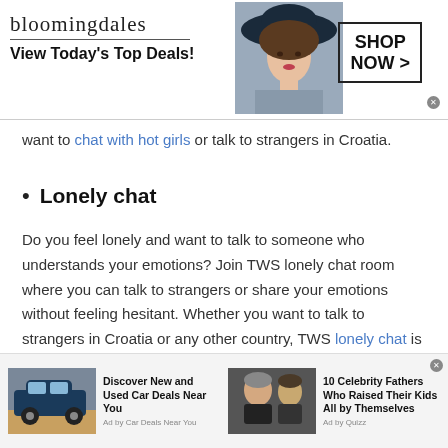[Figure (screenshot): Bloomingdales advertisement banner with logo, tagline 'View Today's Top Deals!', model photo with hat, and SHOP NOW button]
want to chat with hot girls or talk to strangers in Croatia.
Lonely chat
Do you feel lonely and want to talk to someone who understands your emotions? Join TWS lonely chat room where you can talk to strangers or share your emotions without feeling hesitant. Whether you want to talk to strangers in Croatia or any other country, TWS lonely chat is easy to access all over
[Figure (screenshot): Bottom advertisement bar with two ad cards: 'Discover New and Used Car Deals Near You' (Ad by Car Deals Near You) and '10 Celebrity Fathers Who Raised Their Kids All by Themselves' (Ad by Quizz)]